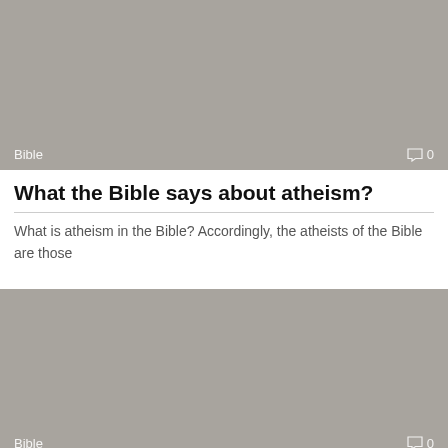[Figure (photo): Gray placeholder image with 'Bible' label and comment count '0' at bottom]
What the Bible says about atheism?
What is atheism in the Bible? Accordingly, the atheists of the Bible are those
[Figure (photo): Gray placeholder image with 'Bible' label and comment count '0' at bottom]
Does the Episcopal Church recognize Mary?